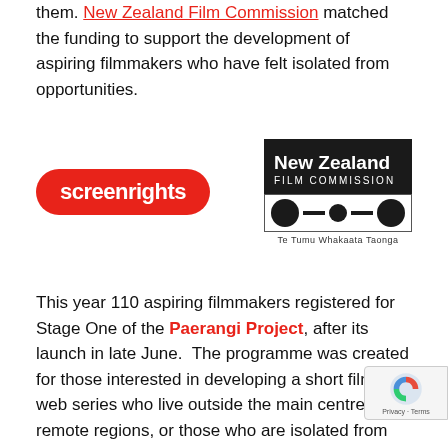them. New Zealand Film Commission matched the funding to support the development of aspiring filmmakers who have felt isolated from opportunities.
[Figure (logo): Screenrights logo (red rounded rectangle with white bold text 'screenrights') and New Zealand Film Commission logo (black box with white text 'New Zealand FILM COMMISSION', stripe with circles, and 'Te Tumu Whakaata Taonga' subtitle)]
This year 110 aspiring filmmakers registered for Stage One of the Paerangi Project, after its launch in late June.  The programme was created for those interested in developing a short film or web series who live outside the main centres, in remote regions, or those who are isolated from opportunities to learn about filmmaking. Registrations came from all over NZ; Auckland / Tāmaki Makaurau, Plenty / Te Moana-a-Toi, Canterbury / Waitaha, Gisbo... Tai Rāwhiti, Hawke's Bay / Te Matau-a-Māui, Manawat...